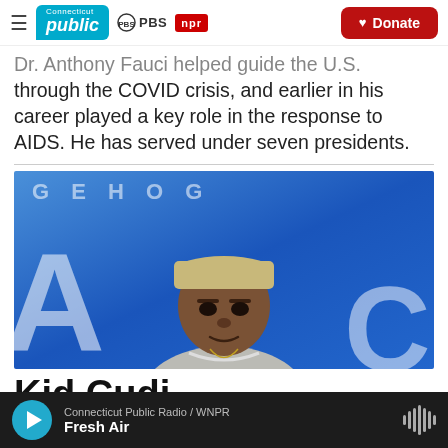Connecticut Public | PBS | NPR | Donate
Dr. Anthony Fauci helped guide the U.S. through the COVID crisis, and earlier in his career played a key role in the response to AIDS. He has served under seven presidents.
[Figure (photo): A young Black man wearing a beige cap and grey sweatshirt, standing in front of a blue backdrop with partial text 'GEHOG' visible.]
Kid Cudi...
Connecticut Public Radio / WNPR — Fresh Air